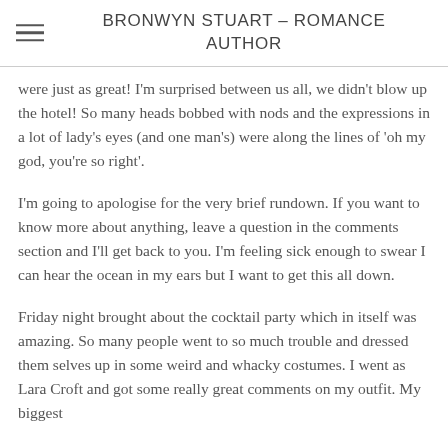BRONWYN STUART – ROMANCE AUTHOR
were just as great! I'm surprised between us all, we didn't blow up the hotel! So many heads bobbed with nods and the expressions in a lot of lady's eyes (and one man's) were along the lines of 'oh my god, you're so right'.
I'm going to apologise for the very brief rundown. If you want to know more about anything, leave a question in the comments section and I'll get back to you. I'm feeling sick enough to swear I can hear the ocean in my ears but I want to get this all down.
Friday night brought about the cocktail party which in itself was amazing. So many people went to so much trouble and dressed them selves up in some weird and whacky costumes. I went as Lara Croft and got some really great comments on my outfit. My biggest